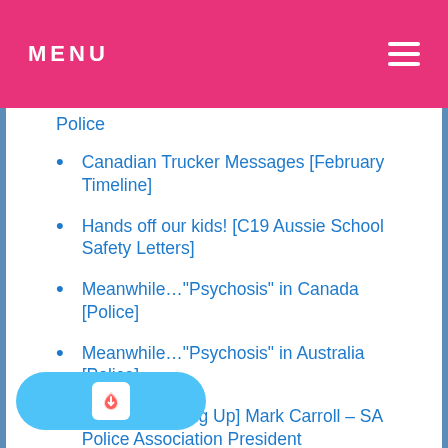MENU
Police
Canadian Trucker Messages [February Timeline]
Hands off our kids! [C19 Aussie School Safety Letters]
Meanwhile…"Psychosis" in Canada [Police]
Meanwhile…"Psychosis" in Australia [Police]
[Police Standing Up] Mark Carroll – SA Police Association President
[Police Standing Up] Chantal Uren – Former WA Police
Cops for Covid Truth
[Police Standing Up] John Thomson – Former QLD Police
[Police Standing Up] Jordan McDonald – Former WA